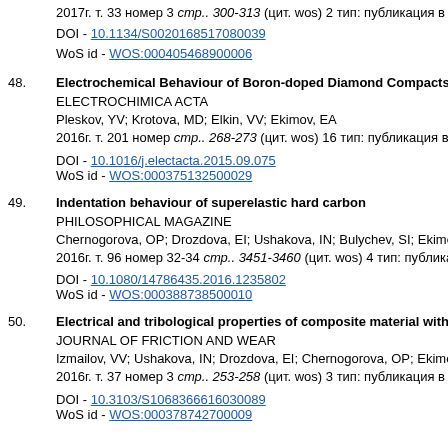2017г. т. 33 номер 3 стр.. 300-313 (цит. wos) 2 тип: публикация в жу...
DOI - 10.1134/S0020168517080039
WoS id - WOS:000405468900006
48. Electrochemical Behaviour of Boron-doped Diamond Compacts - a...
ELECTROCHIMICA ACTA
Pleskov, YV; Krotova, MD; Elkin, VV; Ekimov, EA
2016г. т. 201 номер стр.. 268-273 (цит. wos) 16 тип: публикация в жу...
DOI - 10.1016/j.electacta.2015.09.075
WoS id - WOS:000375132500029
49. Indentation behaviour of superelastic hard carbon
PHILOSOPHICAL MAGAZINE
Chernogorova, OP; Drozdova, EI; Ushakova, IN; Bulychev, SI; Ekimov,...
2016г. т. 96 номер 32-34 стр.. 3451-3460 (цит. wos) 4 тип: публикац...
DOI - 10.1080/14786435.2016.1235802
WoS id - WOS:000388738500010
50. Electrical and tribological properties of composite material with co...
JOURNAL OF FRICTION AND WEAR
Izmailov, VV; Ushakova, IN; Drozdova, EI; Chernogorova, OP; Ekimov,...
2016г. т. 37 номер 3 стр.. 253-258 (цит. wos) 3 тип: публикация в жу...
DOI - 10.3103/S1068366616030089
WoS id - WOS:000378742700009